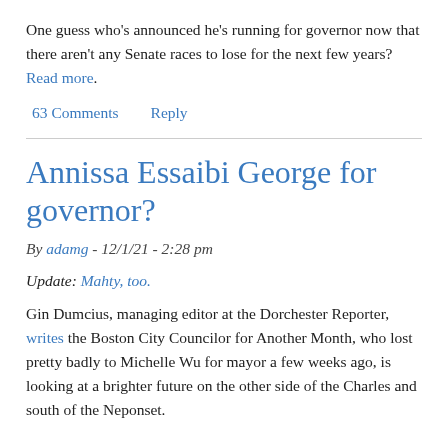One guess who's announced he's running for governor now that there aren't any Senate races to lose for the next few years? Read more.
63 Comments   Reply
Annissa Essaibi George for governor?
By adamg - 12/1/21 - 2:28 pm
Update: Mahty, too.
Gin Dumcius, managing editor at the Dorchester Reporter, writes the Boston City Councilor for Another Month, who lost pretty badly to Michelle Wu for mayor a few weeks ago, is looking at a brighter future on the other side of the Charles and south of the Neponset.